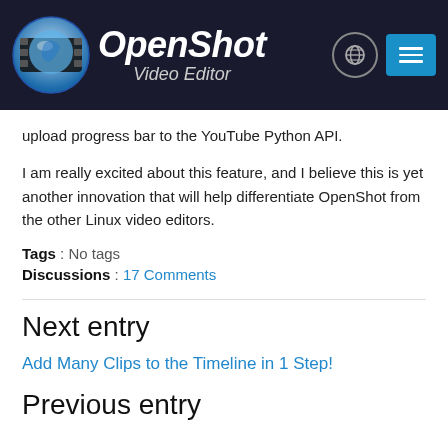OpenShot Video Editor
upload progress bar to the YouTube Python API.
I am really excited about this feature, and I believe this is yet another innovation that will help differentiate OpenShot from the other Linux video editors.
Tags : No tags
Discussions : 17 Comments
Next entry
Add Many Clips to the Timeline in 1 Step!
Previous entry